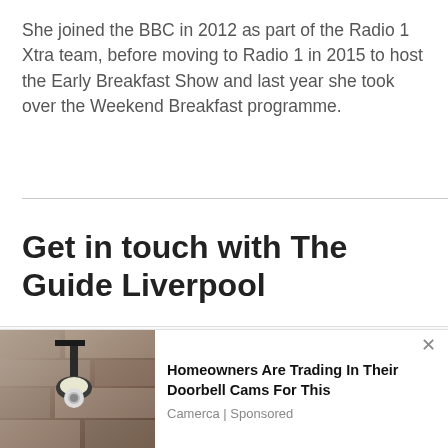She joined the BBC in 2012 as part of the Radio 1 Xtra team, before moving to Radio 1 in 2015 to host the Early Breakfast Show and last year she took over the Weekend Breakfast programme.
Get in touch with The Guide Liverpool
We use cookies on our website to give you the most relevant experience by remembering your preferences and repeat visits. By clicking “Accept All”, you consent to the use of ALL the cookies. However, you may visit “Cookie Settings” to provide a controlled consent.
[Figure (photo): Photo of an outdoor wall-mounted lamp/security camera on a stone wall]
Homeowners Are Trading In Their Doorbell Cams For This
Camerca | Sponsored